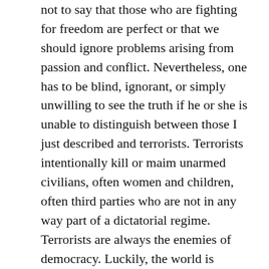not to say that those who are fighting for freedom are perfect or that we should ignore problems arising from passion and conflict. Nevertheless, one has to be blind, ignorant, or simply unwilling to see the truth if he or she is unable to distinguish between those I just described and terrorists. Terrorists intentionally kill or maim unarmed civilians, often women and children, often third parties who are not in any way part of a dictatorial regime. Terrorists are always the enemies of democracy. Luckily, the world is shaking free from its lethargy and moving forward to stop the bloodshed.
Nearly a month ago in Tokyo, the leaders of